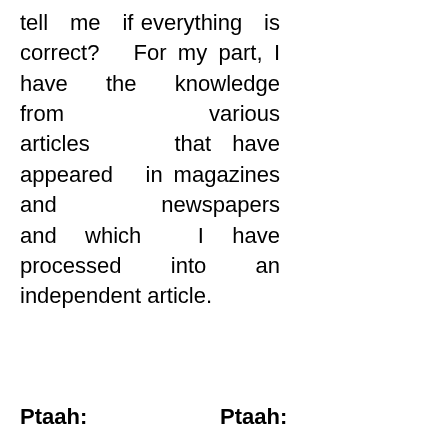tell me if everything is correct? For my part, I have the knowledge from various articles that have appeared in magazines and newspapers and which I have processed into an independent article.
Ptaah:    Ptaah: